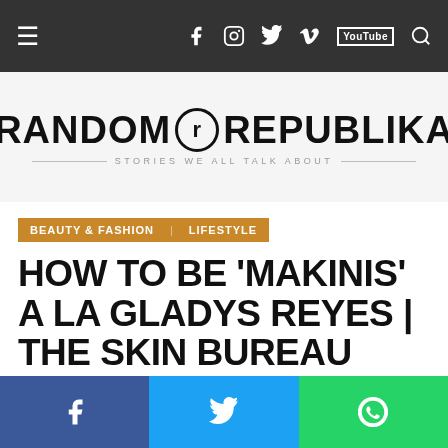Navigation bar with menu icon and social media icons: Facebook, Instagram, Twitter, Vimeo, YouTube, Search
[Figure (logo): Random Republika logo with tagline 'Stories We All Talk About']
BEAUTY & FASHION | LIFESTYLE
HOW TO BE 'MAKINIS' A LA GLADYS REYES | THE SKIN BUREAU LAUNCHES ITS FIRST ENDORSER
Share buttons: Facebook, Twitter, WhatsApp